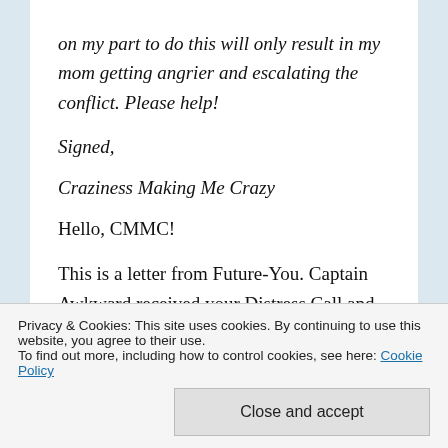on my part to do this will only result in my mom getting angrier and escalating the conflict. Please help!
Signed,
Craziness Making Me Crazy
Hello, CMMC!
This is a letter from Future-You. Captain Awkward received your Distress Call and has
Privacy & Cookies: This site uses cookies. By continuing to use this website, you agree to their use. To find out more, including how to control cookies, see here: Cookie Policy
Close and accept
Here's what we did.